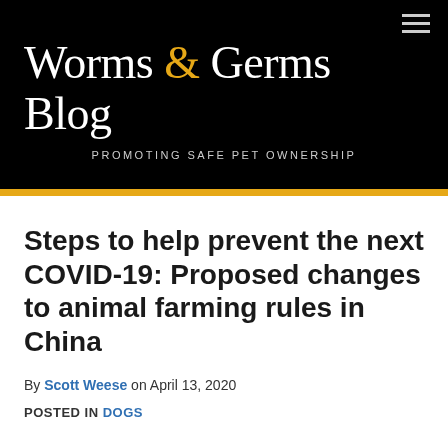Worms & Germs Blog — PROMOTING SAFE PET OWNERSHIP
Steps to help prevent the next COVID-19: Proposed changes to animal farming rules in China
By Scott Weese on April 13, 2020
POSTED IN DOGS